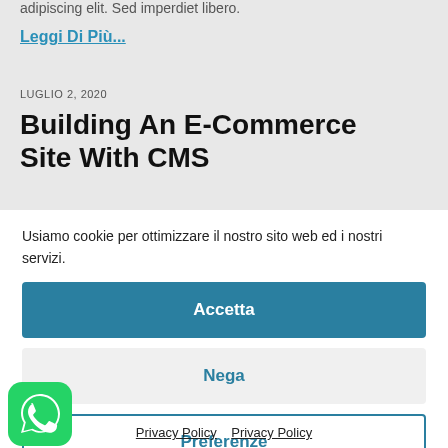adipiscing elit. Sed imperdiet libero.
Leggi Di Più...
LUGLIO 2, 2020
Building An E-Commerce Site With CMS
Usiamo cookie per ottimizzare il nostro sito web ed i nostri servizi.
Accetta
Nega
Preferenze
[Figure (logo): WhatsApp green circular icon with chat bubble]
Privacy Policy  Privacy Policy